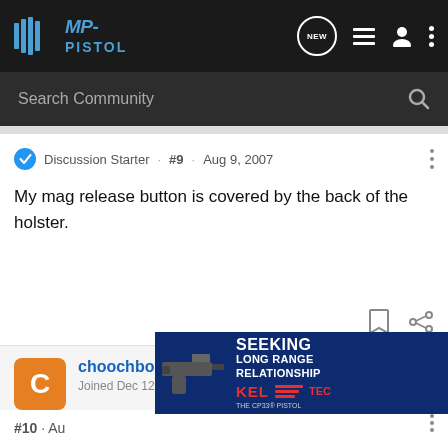MP-PISTOL forum header with logo and navigation icons
Search Community
Discussion Starter · #9 · Aug 9, 2007
My mag release button is covered by the back of the holster.
choochboost · Registered
Joined Dec 12, 2006 · 5,062 Posts
[Figure (screenshot): Kel-Tec CP33 pistol advertisement banner with text SEEKING LONG RANGE RELATIONSHIP]
#10 · Au